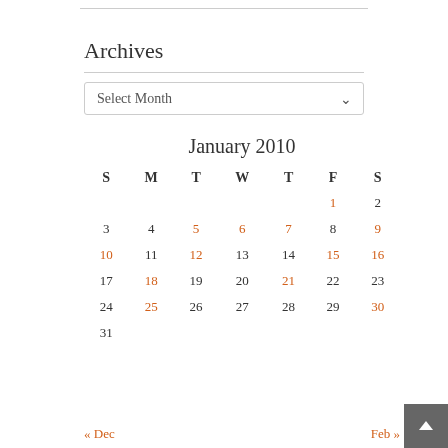Archives
Select Month
| S | M | T | W | T | F | S |
| --- | --- | --- | --- | --- | --- | --- |
|  |  |  |  |  | 1 | 2 |
| 3 | 4 | 5 | 6 | 7 | 8 | 9 |
| 10 | 11 | 12 | 13 | 14 | 15 | 16 |
| 17 | 18 | 19 | 20 | 21 | 22 | 23 |
| 24 | 25 | 26 | 27 | 28 | 29 | 30 |
| 31 |  |  |  |  |  |  |
« Dec    Feb »